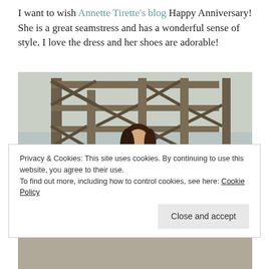I want to wish Annette Tirette's blog Happy Anniversary! She is a great seamstress and has a wonderful sense of style. I love the dress and her shoes are adorable!
[Figure (photo): A woman in a white lace dress standing in front of an industrial metal scaffolding structure outdoors.]
Privacy & Cookies: This site uses cookies. By continuing to use this website, you agree to their use. To find out more, including how to control cookies, see here: Cookie Policy